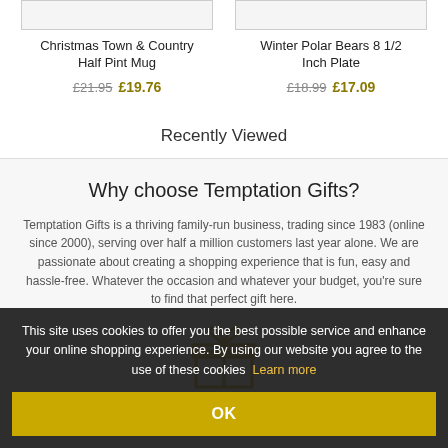Christmas Town & Country Half Pint Mug
£21.95  £19.76
Winter Polar Bears 8 1/2 Inch Plate
£18.99  £17.09
Recently Viewed
Why choose Temptation Gifts?
Temptation Gifts is a thriving family-run business, trading since 1983 (online since 2000), serving over half a million customers last year alone. We are passionate about creating a shopping experience that is fun, easy and hassle-free. Whatever the occasion and whatever your budget, you're sure to find that perfect gift here.
[Figure (illustration): Gold gift box icon with ribbon and bow]
All our products are hand picked to ensure quality, and delivered with more than 100
This site uses cookies to offer you the best possible service and enhance your online shopping experience. By using our website you agree to the use of these cookies  Learn more
OK